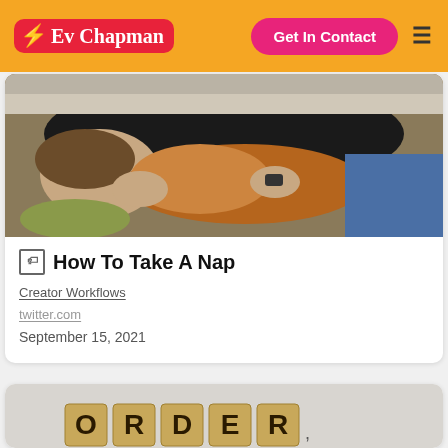Ev Chapman — Get In Contact
[Figure (photo): Person lying face-down on a bed cuddling with a brown/golden dog]
How To Take A Nap
Creator Workflows
twitter.com
September 15, 2021
[Figure (photo): Scrabble tiles spelling ORDER on a light background]